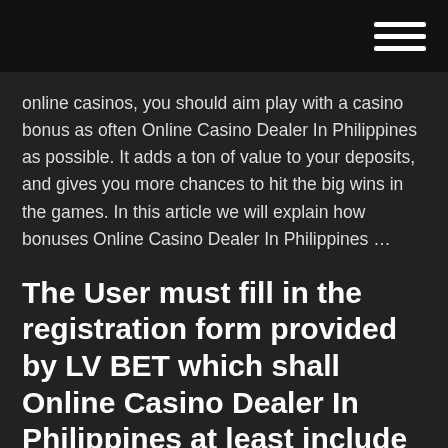online casinos, you should aim play with a casino bonus as often Online Casino Dealer In Philippines as possible. It adds a ton of value to your deposits, and gives you more chances to hit the big wins in the games. In this article we will explain how bonuses Online Casino Dealer In Philippines …
The User must fill in the registration form provided by LV BET which shall Online Casino Dealer In Philippines at least include the following details:. the customer's identity. You warrant